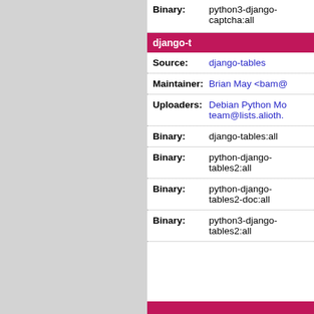| Field | Value |
| --- | --- |
| Binary: | python3-django-captcha:all |
| Source: | django-tables |
| Maintainer: | Brian May <bam@... |
| Uploaders: | Debian Python Mo... team@lists.alioth.... |
| Binary: | django-tables:all |
| Binary: | python-django-tables2:all |
| Binary: | python-django-tables2-doc:all |
| Binary: | python3-django-tables2:all |